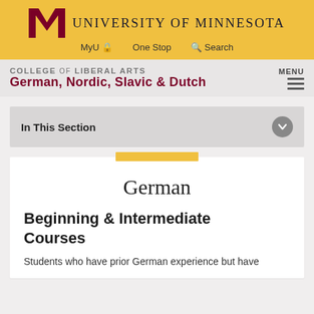[Figure (logo): University of Minnesota block M logo in maroon]
University of Minnesota
MyU  One Stop  Search
COLLEGE OF LIBERAL ARTS
German, Nordic, Slavic & Dutch
MENU
In This Section
German
Beginning & Intermediate Courses
Students who have prior German experience but have